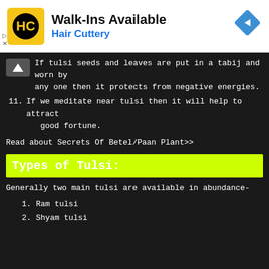[Figure (infographic): Hair Cuttery advertisement banner with logo, text 'Walk-Ins Available', 'Hair Cuttery', navigation diamond icon, and ad controls]
If tulsi seeds and leaves are put in a tabij and worn by any one then it protects from negative energies.
11. If we meditate near tulsi then it will help to attract good fortune.
Read about Secrets Of Betel/Paan Plant>>
Types of Tulsi:
Generally two main tulsi are available in abundance-
1. Ram tulsi
2. Shyam tulsi